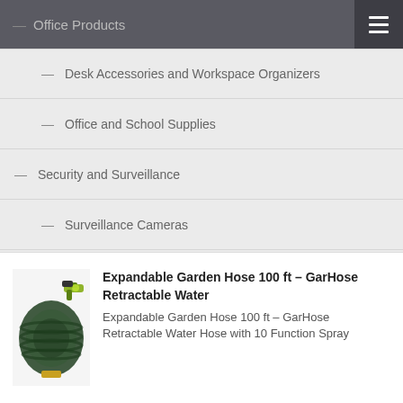Office Products
Desk Accessories and Workspace Organizers
Office and School Supplies
Security and Surveillance
Surveillance Cameras
Video Surveillance
Expandable Garden Hose 100 ft – GarHose Retractable Water
Expandable Garden Hose 100 ft – GarHose Retractable Water Hose with 10 Function Spray